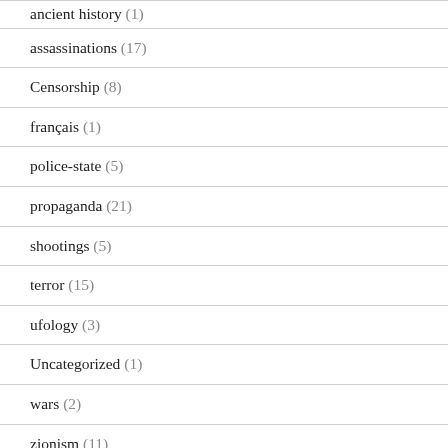ancient history (1)
assassinations (17)
Censorship (8)
français (1)
police-state (5)
propaganda (21)
shootings (5)
terror (15)
ufology (3)
Uncategorized (1)
wars (2)
zionism (11)